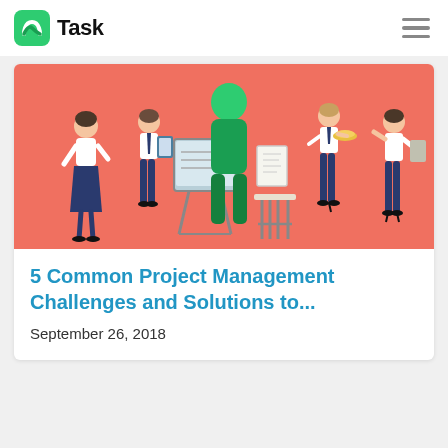nTask
[Figure (illustration): Cartoon illustration of business people in an office setting on a salmon/coral background. Multiple figures including a woman in a skirt, people with tablets and documents, a whiteboard, a chair, and various office workers.]
5 Common Project Management Challenges and Solutions to...
September 26, 2018